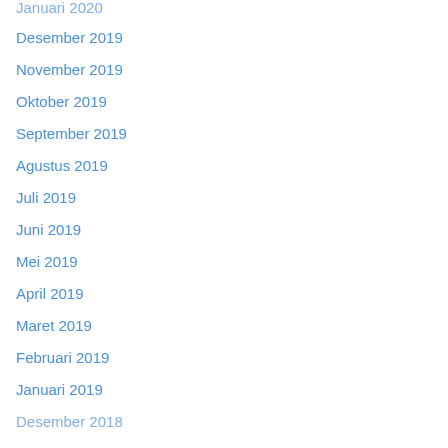Januari 2020
Desember 2019
November 2019
Oktober 2019
September 2019
Agustus 2019
Juli 2019
Juni 2019
Mei 2019
April 2019
Maret 2019
Februari 2019
Januari 2019
Desember 2018